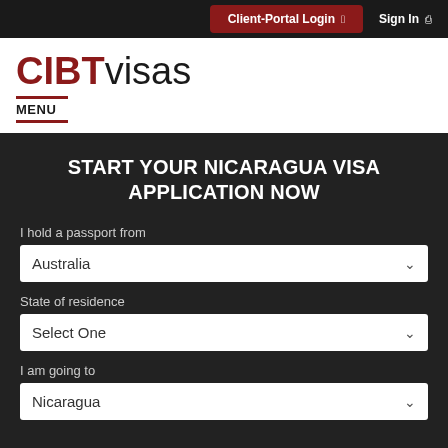Client-Portal Login  Sign In
CIBTvisas
MENU
START YOUR NICARAGUA VISA APPLICATION NOW
I hold a passport from
Australia
State of residence
Select One
I am going to
Nicaragua